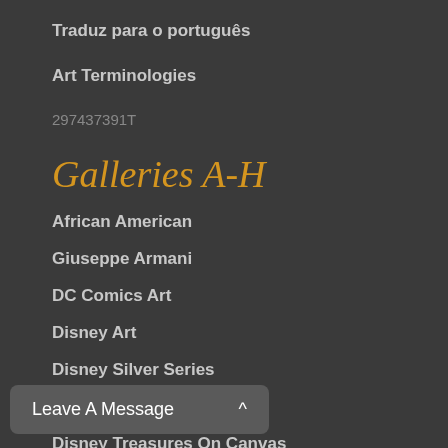Traduz para o português
Art Terminologies
297437391T
Galleries A-H
African American
Giuseppe Armani
DC Comics Art
Disney Art
Disney Silver Series
Disney Originals
Disney Treasures On Canvas
Leave A Message ^